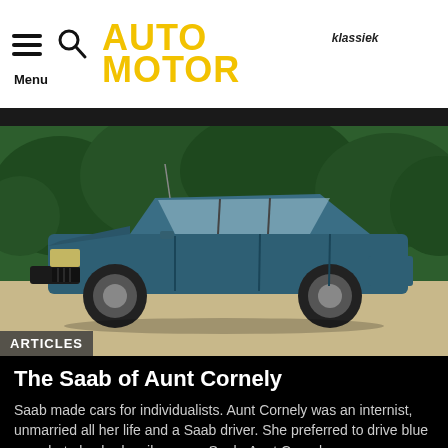AUTO MOTOR klassiek — Menu
[Figure (photo): A vintage blue Saab car parked on a sandy path with green trees in the background. Badge overlay reads ARTICLES.]
The Saab of Aunt Cornely
Saab made cars for individualists. Aunt Cornely was an internist, unmarried all her life and a Saab driver. She preferred to drive blue cars, but also had a silver-grey Saab. Aunt Cornely was